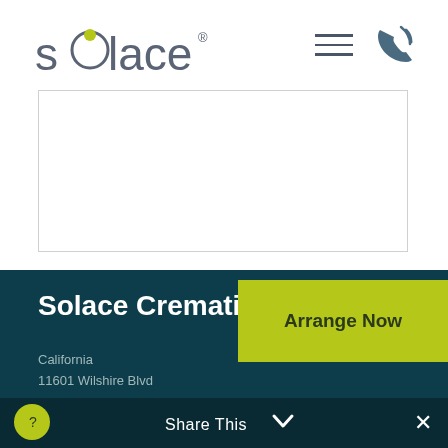[Figure (logo): Solace cremation services logo with stylized 'o' in yellow-green]
[Figure (illustration): Hamburger menu icon (three horizontal lines)]
[Figure (illustration): Phone/call icon with signal waves]
[Figure (other): White bordered content box, empty]
Solace Cremation
California
11601 Wilshire Blvd
[Figure (other): Arrange Now yellow-green button]
Share This
[Figure (illustration): Help/info circle button in yellow-green]
[Figure (illustration): Close X button]